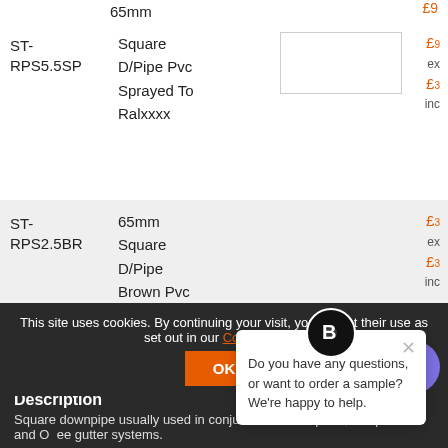65mm
| Code | Description | Image | Price |
| --- | --- | --- | --- |
| ST-RPS5.5SP | Square D/Pipe Pvc Sprayed To Ralxxxx |  | £x ex / £x inc |
| ST-RPS2.5BR | 65mm Square D/Pipe Brown Pvc |  | £x ex / £x inc |
Add to Basket
Do you have any questions, or want to order a sample? We're happy to help.
This site uses cookies. By continuing your visit, you accept their use as set out in our Cookie Policy.
Description
Square downpipe usually used in conjunction with square, Deep flow and Ogee gutter systems.